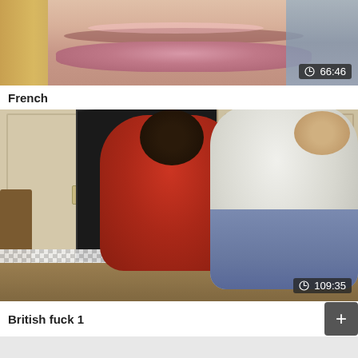[Figure (photo): Close-up thumbnail of a person's face showing lips, with blonde hair on the left and a blue curtain on the right. Duration badge showing 66:46 in bottom right corner.]
French
[Figure (photo): Kitchen scene showing two people bending over open cabinet doors. Person in red top with dark hair and person in white shirt with jeans. Kitchen cabinets, checkered tablecloth and chair visible. Duration badge showing 109:35 in bottom right corner.]
British fuck 1